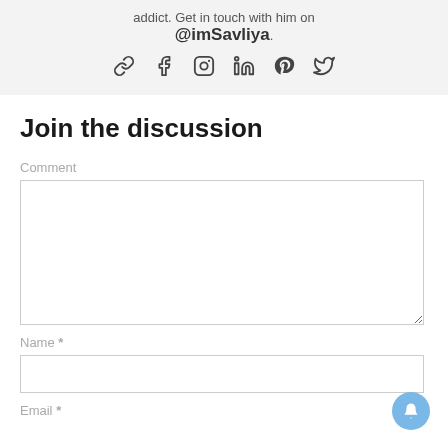addict. Get in touch with him on @imSavliya.
[Figure (illustration): Social media icons: link, facebook, instagram, linkedin, pinterest, twitter]
Join the discussion
Comment
[Figure (other): Comment text area input box]
Name *
[Figure (other): Name text input box]
Email *